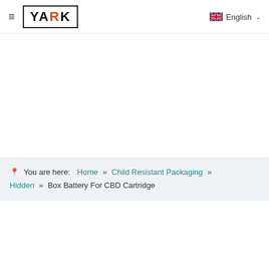≡ YARK  English ∨
📍 You are here:  Home  »  Child Resistant Packaging  »  Hidden  »  Box Battery For CBD Cartridge